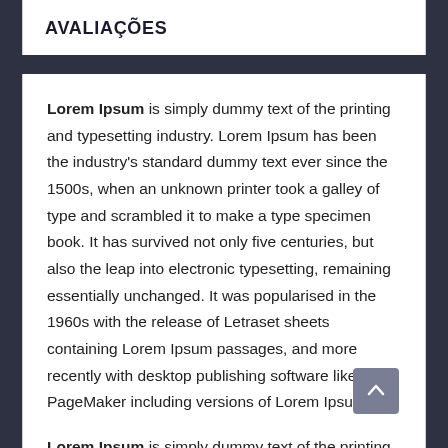AVALIAÇÕES
Lorem Ipsum is simply dummy text of the printing and typesetting industry. Lorem Ipsum has been the industry's standard dummy text ever since the 1500s, when an unknown printer took a galley of type and scrambled it to make a type specimen book. It has survived not only five centuries, but also the leap into electronic typesetting, remaining essentially unchanged. It was popularised in the 1960s with the release of Letraset sheets containing Lorem Ipsum passages, and more recently with desktop publishing software like Aldus PageMaker including versions of Lorem Ipsum.
Lorem Ipsum is simply dummy text of the printing and